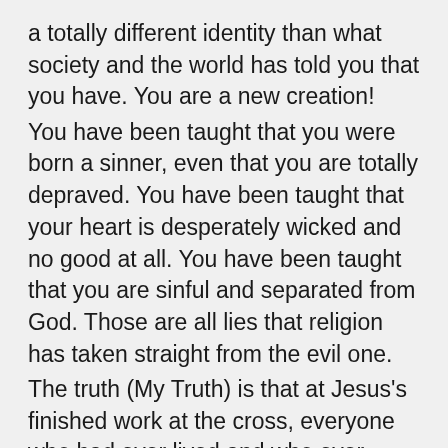a totally different identity than what society and the world has told you that you have. You are a new creation!
You have been taught that you were born a sinner, even that you are totally depraved. You have been taught that your heart is desperately wicked and no good at all. You have been taught that you are sinful and separated from God. Those are all lies that religion has taken straight from the evil one.
The truth (My Truth) is that at Jesus's finished work at the cross, everyone who had ever lived and who ever would live, died with Jesus. He took all the sin of the world away, We forgave it and never hold it against anyone. When We raised Him from the dead, we raised you… and everyone else with Him as New Creations In Christ. We are now all one life in Christ...